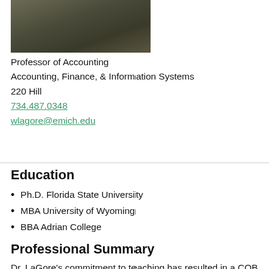[Figure (photo): Portrait photo of professor, partial view showing upper body, dark clothing against dark background]
Professor of Accounting
Accounting, Finance, & Information Systems
220 Hill
734.487.0348
wlagore@emich.edu
Education
Ph.D. Florida State University
MBA University of Wyoming
BBA Adrian College
Professional Summary
Dr. LaGore's commitment to teaching has resulted in a COB Outstanding Teaching in the College Award. Professor LaGore teaches the introductory financial